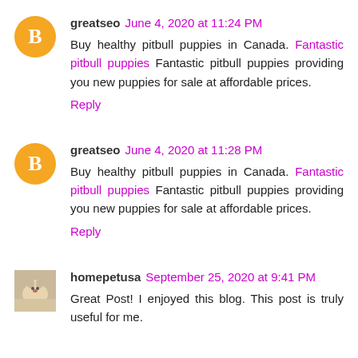greatseo June 4, 2020 at 11:24 PM
Buy healthy pitbull puppies in Canada. Fantastic pitbull puppies Fantastic pitbull puppies providing you new puppies for sale at affordable prices.
Reply
greatseo June 4, 2020 at 11:28 PM
Buy healthy pitbull puppies in Canada. Fantastic pitbull puppies Fantastic pitbull puppies providing you new puppies for sale at affordable prices.
Reply
homepetusa September 25, 2020 at 9:41 PM
Great Post! I enjoyed this blog. This post is truly useful for me.